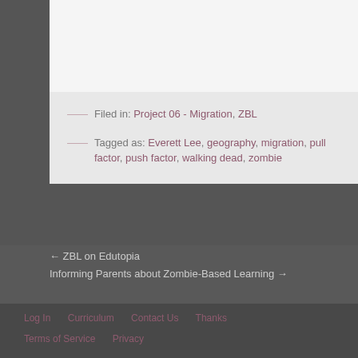Filed in: Project 06 - Migration, ZBL
Tagged as: Everett Lee, geography, migration, pull factor, push factor, walking dead, zombie
← ZBL on Edutopia
Informing Parents about Zombie-Based Learning →
Log In   Curriculum   Contact Us   Thanks   Terms of Service   Privacy